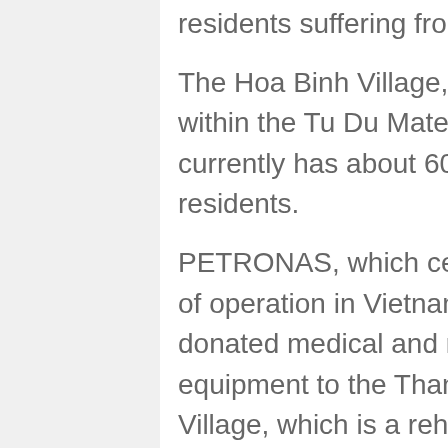residents suffering from various illnesses.
The Hoa Binh Village, which is situated within the Tu Du Maternity Hospital here, currently has about 60 children as its residents.
PETRONAS, which celebrated its 10th year of operation in Vietnam yesterday, has also donated medical and rehabilitation equipment to the Thanh Xuan Peace Village, which is a rehabilitation centre in Hanoi for children suffering various diseases associated with the exposure to the Agent Orange chemical herbicide used in the Vietnam War in the 1970s. The contribution was